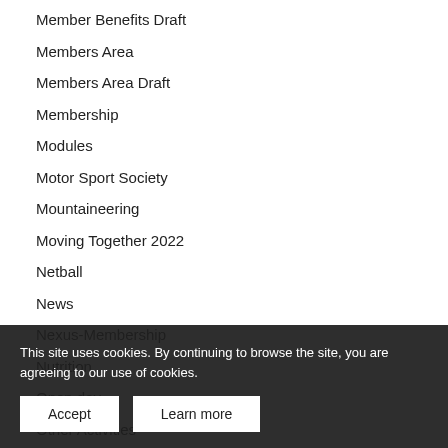Member Benefits Draft
Members Area
Members Area Draft
Membership
Modules
Motor Sport Society
Mountaineering
Moving Together 2022
Netball
News
Nexus-Membership
Nutrition
Open day
Other Activities
Outdoor Education
Patrick Rowbottom
This site uses cookies. By continuing to browse the site, you are agreeing to our use of cookies.